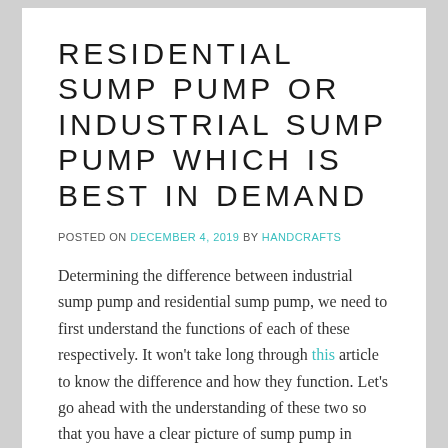RESIDENTIAL SUMP PUMP OR INDUSTRIAL SUMP PUMP WHICH IS BEST IN DEMAND
POSTED ON DECEMBER 4, 2019 BY HANDCRAFTS
Determining the difference between industrial sump pump and residential sump pump, we need to first understand the functions of each of these respectively. It won't take long through this article to know the difference and how they function. Let's go ahead with the understanding of these two so that you have a clear picture of sump pump in mind.
Residential sump pumps are mostly installed in the